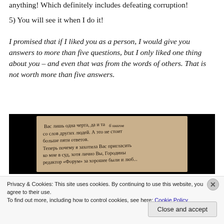anything! Which definitely includes defeating corruption!
5) You will see it when I do it!
I promised that if I liked you as a person, I would give you answers to more than five questions, but I only liked one thing about you – and even that was from the words of others. That is not worth more than five answers.
[Figure (photo): A handwritten note in Russian cursive on aged paper, photographed against a black background.]
Privacy & Cookies: This site uses cookies. By continuing to use this website, you agree to their use.
To find out more, including how to control cookies, see here: Cookie Policy